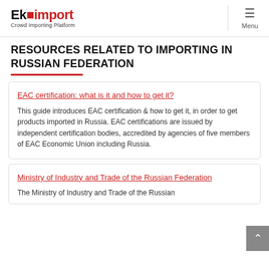Ekimport — Crowd Importing Platform | Menu
RESOURCES RELATED TO IMPORTING IN RUSSIAN FEDERATION
EAC certification: what is it and how to get it?
This guide introduces EAC certification & how to get it, in order to get products imported in Russia. EAC certifications are issued by independent certification bodies, accredited by agencies of five members of EAC Economic Union including Russia.
Ministry of Industry and Trade of the Russian Federation
The Ministry of Industry and Trade of the Russian